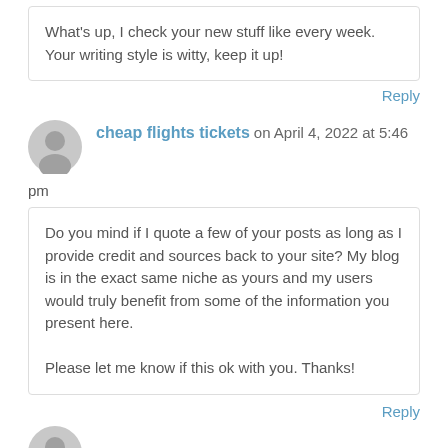What's up, I check your new stuff like every week. Your writing style is witty, keep it up!
Reply
cheap flights tickets on April 4, 2022 at 5:46 pm
Do you mind if I quote a few of your posts as long as I provide credit and sources back to your site? My blog is in the exact same niche as yours and my users would truly benefit from some of the information you present here.

Please let me know if this ok with you. Thanks!
Reply